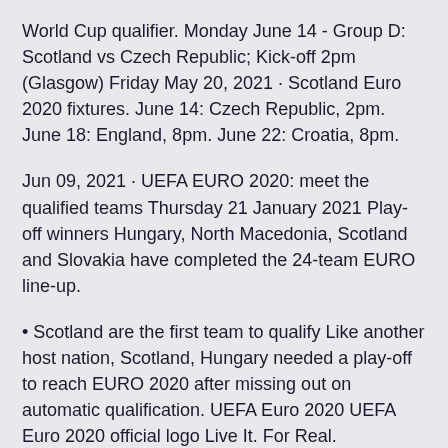World Cup qualifier. Monday June 14 - Group D: Scotland vs Czech Republic; Kick-off 2pm (Glasgow) Friday May 20, 2021 · Scotland Euro 2020 fixtures. June 14: Czech Republic, 2pm. June 18: England, 8pm. June 22: Croatia, 8pm.
Jun 09, 2021 · UEFA EURO 2020: meet the qualified teams Thursday 21 January 2021 Play-off winners Hungary, North Macedonia, Scotland and Slovakia have completed the 24-team EURO line-up.
Scotland are the first team to qualify Like another host nation, Scotland, Hungary needed a play-off to reach EURO 2020 after missing out on automatic qualification. UEFA Euro 2020 UEFA Euro 2020 official logo Live It. For Real.